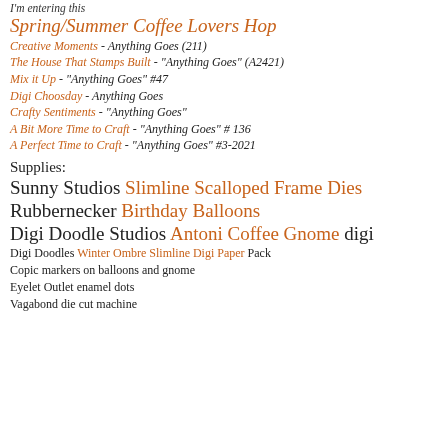I'm entering this
Spring/Summer Coffee Lovers Hop
Creative Moments - Anything Goes (211)
The House That Stamps Built - "Anything Goes" (A2421)
Mix it Up - "Anything Goes" #47
Digi Choosday - Anything Goes
Crafty Sentiments - "Anything Goes"
A Bit More Time to Craft - "Anything Goes" # 136
A Perfect Time to Craft - "Anything Goes" #3-2021
Supplies:
Sunny Studios Slimline Scalloped Frame Dies
Rubbernecker Birthday Balloons
Digi Doodle Studios Antoni Coffee Gnome digi
Digi Doodles Winter Ombre Slimline Digi Paper Pack
Copic markers on balloons and gnome
Eyelet Outlet enamel dots
Vagabond die cut machine